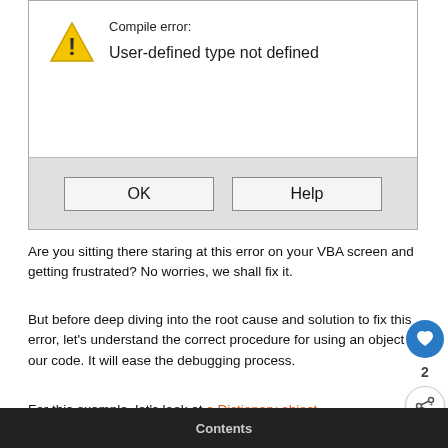[Figure (screenshot): A Windows-style compile error dialog box showing a warning triangle icon, the text 'Compile error:' and 'User-defined type not defined', with OK and Help buttons on a gray bottom bar.]
Are you sitting there staring at this error on your VBA screen and getting frustrated? No worries, we shall fix it.
But before deep diving into the root cause and solution to fix this error, let's understand the correct procedure for using an object in our code. It will ease the debugging process.
For this example, let's look at a Dictionary object.
Contents